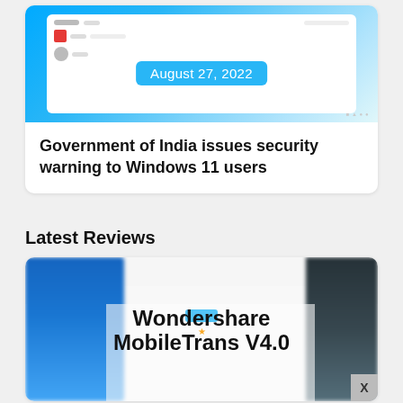[Figure (screenshot): Screenshot of Windows 11 desktop with notification panel, showing date badge 'August 27, 2022' overlaid on the image.]
Government of India issues security warning to Windows 11 users
Latest Reviews
[Figure (screenshot): Blurred screenshot of Wondershare MobileTrans V4.0 software interface with bold overlay text reading 'Wondershare MobileTrans V4.0' and a close (X) button in bottom right.]